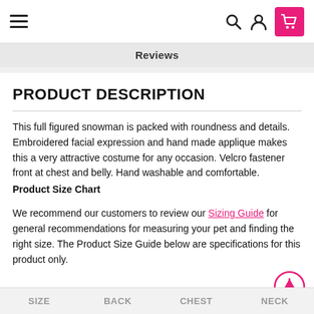Reviews
PRODUCT DESCRIPTION
This full figured snowman is packed with roundness and details. Embroidered facial expression and hand made applique makes this a very attractive costume for any occasion. Velcro fastener front at chest and belly. Hand washable and comfortable.
Product Size Chart
We recommend our customers to review our Sizing Guide for general recommendations for measuring your pet and finding the right size. The Product Size Guide below are specifications for this product only.
| SIZE | BACK | CHEST | NECK |
| --- | --- | --- | --- |